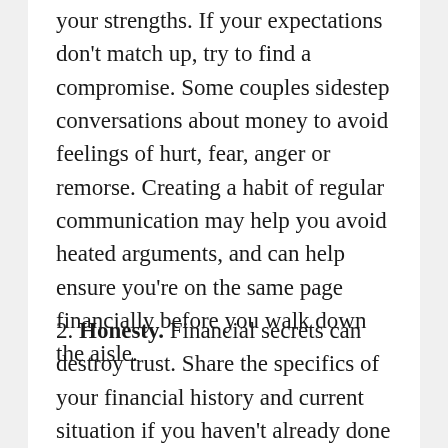your strengths. If your expectations don't match up, try to find a compromise. Some couples sidestep conversations about money to avoid feelings of hurt, fear, anger or remorse. Creating a habit of regular communication may help you avoid heated arguments, and can help ensure you're on the same page financially before you walk down the aisle.
2. Honesty. Financial secrets can destroy trust. Share the specifics of your financial history and current situation if you haven't already done so. Your future spouse deserves to know if you're paying off college debt, or if you've made any financial mistakes in the past (and haven't notified them). Staying honest...